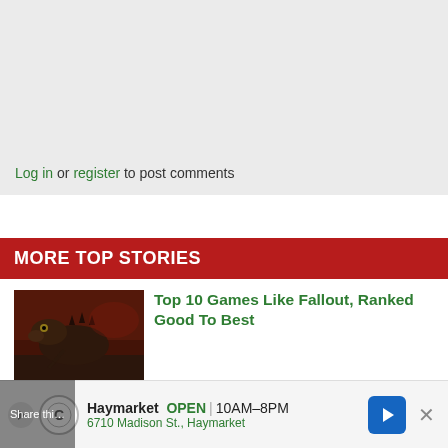Log in or register to post comments
MORE TOP STORIES
[Figure (illustration): Fantasy/post-apocalyptic creature artwork thumbnail for Fallout games article]
Top 10 Games Like Fallout, Ranked Good To Best
Can't get enough of post apocalyptic RPGs? Now you can experience them one more with this list of games like Fallout. What is it about post-apocalyptic wastelands that appeals to us so much? Your guess is as good as mine, but fact is they are fun to watch and
Haymarket  OPEN | 10AM–8PM  6710 Madison St., Haymarket